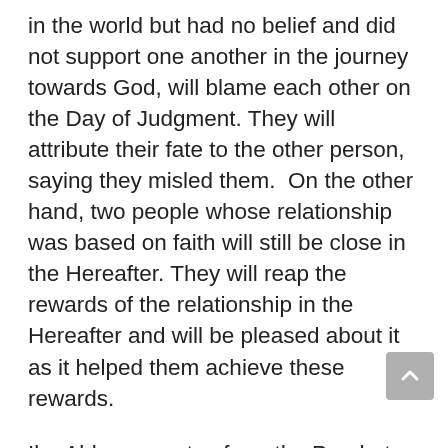in the world but had no belief and did not support one another in the journey towards God, will blame each other on the Day of Judgment. They will attribute their fate to the other person, saying they misled them.  On the other hand, two people whose relationship was based on faith will still be close in the Hereafter. They will reap the rewards of the relationship in the Hereafter and will be pleased about it as it helped them achieve these rewards.
Ibn Abbas narrates from the Prophet sallal-lāhu ʻalayhi wa-ālihi wasallam: No one may taste true faith except by building relationships for Allah's sake, even if his prayers and fasts are many. People have